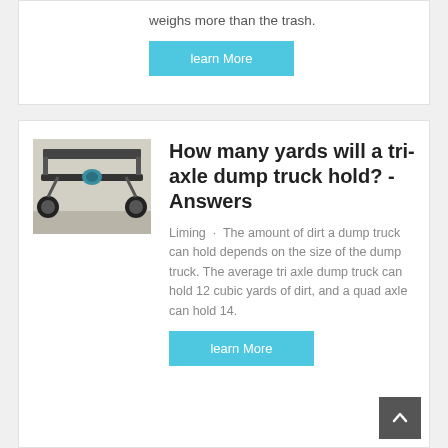weighs more than the trash.
learn More
[Figure (photo): Underside view of a dump truck chassis showing axles and wheels on pavement]
How many yards will a tri-axle dump truck hold? - Answers
Liming · The amount of dirt a dump truck can hold depends on the size of the dump truck. The average tri axle dump truck can hold 12 cubic yards of dirt, and a quad axle can hold 14.
learn More